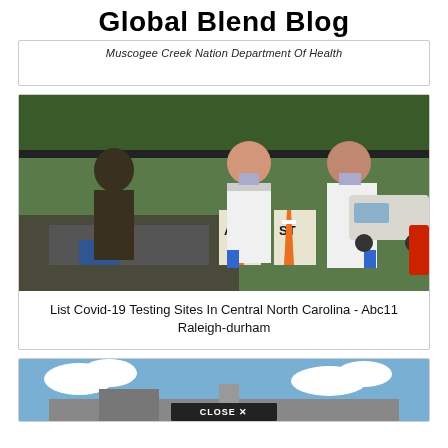Global Blend Blog
Muscogee Creek Nation Department Of Health
[Figure (photo): Two healthcare workers in white lab coats and blue gloves wearing face masks standing at an outdoor COVID-19 testing site with orange traffic cones and signs reading ALDO and STOP]
List Covid-19 Testing Sites In Central North Carolina - Abc11 Raleigh-durham
[Figure (photo): Partial view of a building with blue sky and clouds; a CLOSE X button overlay visible at bottom center]